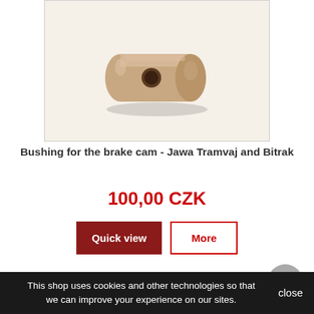[Figure (photo): A small cylindrical bronze/copper bushing with a hole in the center, photographed on a light background.]
Bushing for the brake cam - Jawa Tramvaj and Bitrak
100,00 CZK
Quick view
More
Out of stock
This shop uses cookies and other technologies so that we can improve your experience on our sites.
close